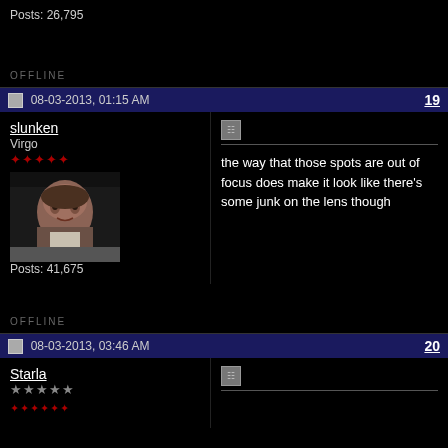Posts: 26,795
OFFLINE
08-03-2013, 01:15 AM
19
slunken
Virgo
[Figure (photo): Portrait avatar of slunken - classical painting style face]
Posts: 41,675
the way that those spots are out of focus does make it look like there's some junk on the lens though
OFFLINE
08-03-2013, 03:46 AM
20
Starla